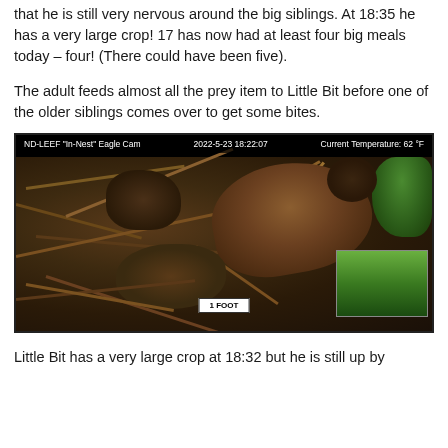that he is still very nervous around the big siblings. At 18:35 he has a very large crop! 17 has now had at least four big meals today – four! (There could have been five).
The adult feeds almost all the prey item to Little Bit before one of the older siblings comes over to get some bites.
[Figure (photo): ND-LEEF In-Nest Eagle Cam screenshot dated 2022-5-23 18:22:07, Current Temperature: 62 °F, showing eagle chicks in a large stick nest with greenery visible on the right and a scale bar reading 1 FOOT at the bottom center, with a small inset thumbnail in the bottom right corner.]
Little Bit has a very large crop at 18:32 but he is still up by